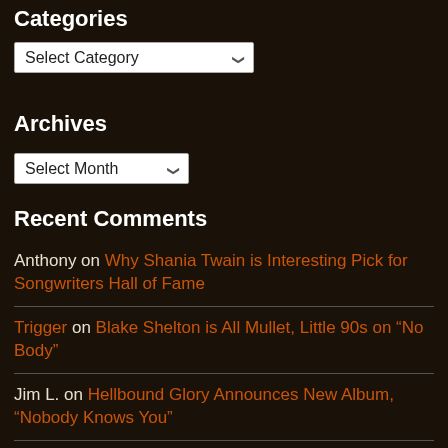Categories
Select Category
Archives
Select Month
Recent Comments
Anthony on Why Shania Twain is Interesting Pick for Songwriters Hall of Fame
Trigger on Blake Shelton is All Mullet, Little 90s on “No Body”
Jim L. on Hellbound Glory Announces New Album, “Nobody Knows You”
PR on Willie Nelson Was Gravely Ill with Covid, House Turned into Hospital